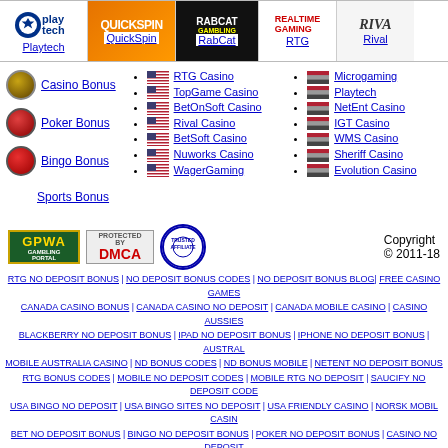[Figure (screenshot): Top navigation bar with software provider logos: Playtech, QuickSpin, RabCat, RTG, Rival]
Casino Bonus
Poker Bonus
Bingo Bonus
Sports Bonus
RTG Casino
TopGame Casino
BetOnSoft Casino
Rival Casino
BetSoft Casino
Nuworks Casino
WagerGaming
Microgaming
Playtech
NetEnt Casino
IGT Casino
WMS Casino
Sheriff Casino
Evolution Casino
[Figure (logo): GPWA logo, DMCA Protected badge, Trusted Affiliate badge, Copyright 2011-18]
RTG NO DEPOSIT BONUS | NO DEPOSIT BONUS CODES | NO DEPOSIT BONUS BLOG| FREE CASINO GAMES
CANADA CASINO BONUS | CANADA CASINO NO DEPOSIT | CANADA MOBILE CASINO | CASINO AUSSIES
BLACKBERRY NO DEPOSIT BONUS | IPAD NO DEPOSIT BONUS | IPHONE NO DEPOSIT BONUS | AUSTRAL
MOBILE AUSTRALIA CASINO | ND BONUS CODES | ND BONUS MOBILE | NETENT NO DEPOSIT BONUS
RTG BONUS CODES | MOBILE NO DEPOSIT CODES | MOBILE RTG NO DEPOSIT | SAUCIFY NO DEPOSIT CODE
USA BINGO NO DEPOSIT | USA BINGO SITES NO DEPOSIT | USA FRIENDLY CASINO | NORSK MOBIL CASIN
BET NO DEPOSIT BONUS | BINGO NO DEPOSIT BONUS | POKER NO DEPOSIT BONUS | CASINO NO DEPOSIT
BONUS CASINO SENZA DEPOSITO | SENZA DEPOSITO CASINO ONLINE | NORSK MOBIL CASINO| NORGE C
senza deposito mobile | bonus ohne einzahlung | oesterreichische mobile casinos | oesterreichische online casinos |